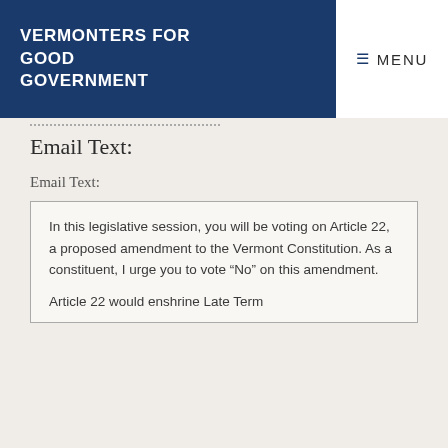VERMONTERS FOR GOOD GOVERNMENT
Email Text:
Email Text:
In this legislative session, you will be voting on Article 22, a proposed amendment to the Vermont Constitution. As a constituent, I urge you to vote “No” on this amendment.

Article 22 would enshrine Late Term